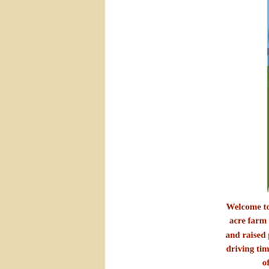[Figure (photo): Farm driveway with gravel path leading to a blue metal barn/shed structure, surrounded by large green trees under a blue sky.]
Welcome to Goddard Farm™ Nub... acre farm in rural north west Do... and raised purebred Nubian Dairy... driving time west of Kansas City a... off of The Kans...